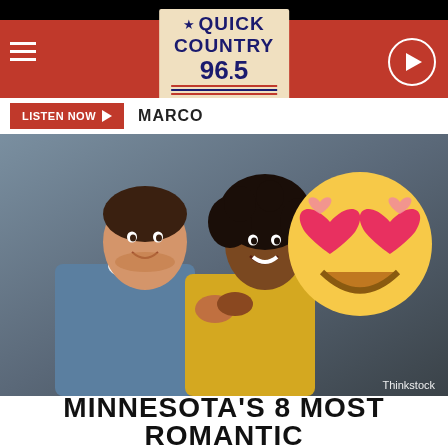Quick Country 96.5
LISTEN NOW   MARCO
[Figure (photo): A smiling couple leaning against a gray wall — man in denim shirt, woman in yellow top — with a heart-eyes emoji overlaid in the upper right. Credit: Thinkstock]
MINNESOTA'S 8 MOST ROMANTIC